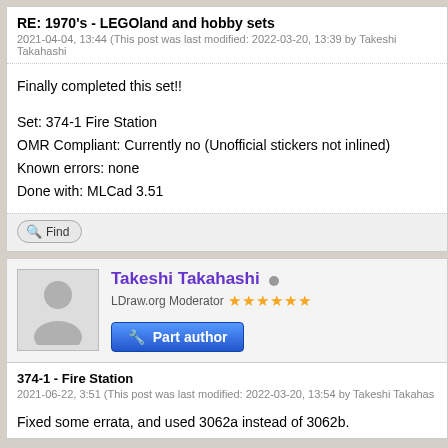RE: 1970's - LEGOland and hobby sets
2021-04-04, 13:44 (This post was last modified: 2022-03-20, 13:39 by Takeshi Takahashi
Finally completed this set!!
Set: 374-1 Fire Station
OMR Compliant: Currently no (Unofficial stickers not inlined)
Known errors: none
Done with: MLCad 3.51
Find
[Figure (illustration): User avatar silhouette placeholder image]
Takeshi Takahashi
LDraw.org Moderator ★★★★★★
[Figure (infographic): Part author badge button with wrench and screwdriver icons]
374-1 - Fire Station
2021-06-22, 3:51 (This post was last modified: 2022-03-20, 13:54 by Takeshi Takahas
Fixed some errata, and used 3062a instead of 3062b.